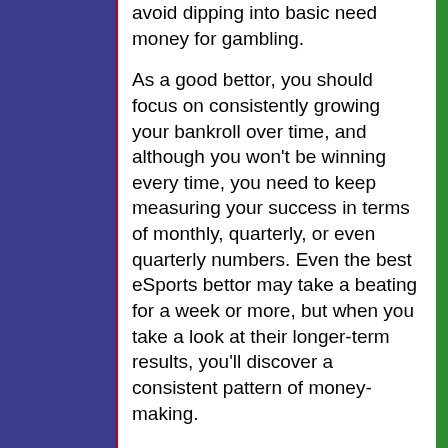avoid dipping into basic need money for gambling.
As a good bettor, you should focus on consistently growing your bankroll over time, and although you won't be winning every time, you need to keep measuring your success in terms of monthly, quarterly, or even quarterly numbers. Even the best eSports bettor may take a beating for a week or more, but when you take a look at their longer-term results, you'll discover a consistent pattern of money-making.
The key to bankroll management entails knowing how much you need to bet and when. And this is largely tied to knowing the formats, schedules, and timetables of various esports tournaments, which is where a huge majority of the